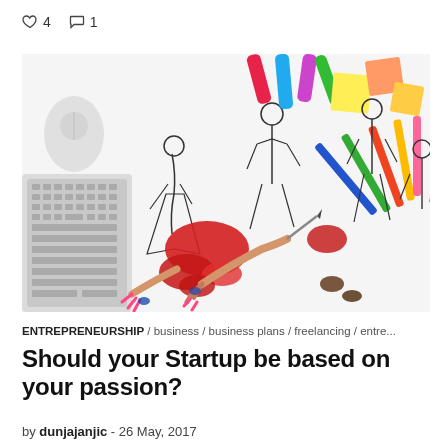♡ 4   ○ 1
[Figure (photo): Overhead view of a designer's desk with hands drawing fashion illustration sketches, colorful markers, pencils, sticky notes, and a keyboard on a white surface.]
ENTREPRENEURSHIP / business / business plans / freelancing / entre...
Should your Startup be based on your passion?
by dunjajanjic - 26 May, 2017